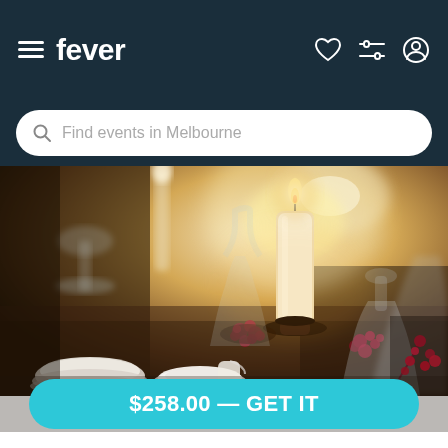fever
Find events in Melbourne
[Figure (photo): A beautifully set dinner table with white pillar candles on a dark pedestal stand, surrounded by red berries, crystal wine glasses, and white dishes with a warm bokeh background.]
$258.00 — GET IT
EXCLUSIVE EVENT PRICE